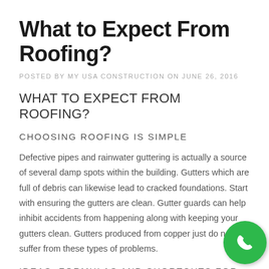What to Expect From Roofing?
POSTED BY MY USA CONSTRUCTION ON JUNE 26, 2016
What to Expect From Roofing?
CHOOSING ROOFING IS SIMPLE
Defective pipes and rainwater guttering is actually a source of several damp spots within the building. Gutters which are full of debris can likewise lead to cracked foundations. Start with ensuring the gutters are clean. Gutter guards can help inhibit accidents from happening along with keeping your gutters clean. Gutters produced from copper just do not suffer from these types of problems.
IDEAS, FORMULAS AND SHORTCUTS FOR ROOFING